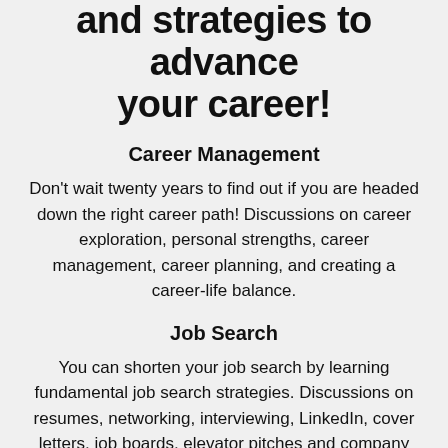and strategies to advance your career!
Career Management
Don't wait twenty years to find out if you are headed down the right career path! Discussions on career exploration, personal strengths, career management, career planning, and creating a career-life balance.
Job Search
You can shorten your job search by learning fundamental job search strategies. Discussions on resumes, networking, interviewing, LinkedIn, cover letters, job boards, elevator pitches and company research.